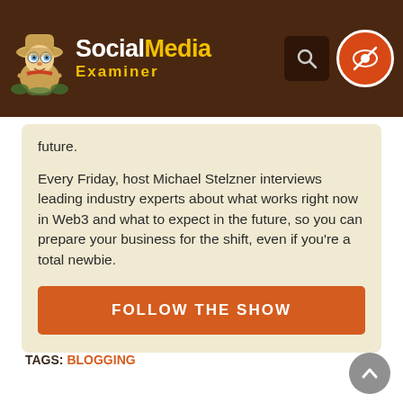Social Media Examiner
future.
Every Friday, host Michael Stelzner interviews leading industry experts about what works right now in Web3 and what to expect in the future, so you can prepare your business for the shift, even if you're a total newbie.
FOLLOW THE SHOW
TAGS: BLOGGING